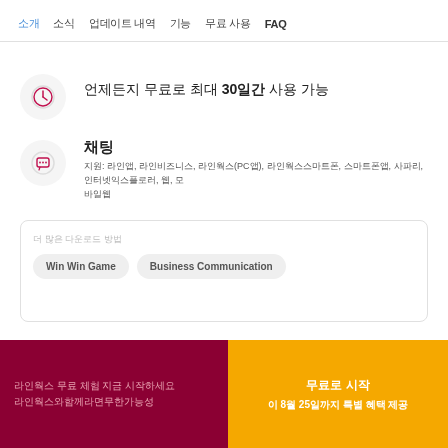소개  소식  업데이트 내역  기능  무료 사용  FAQ
언제든지 무료로 최대 30일간 사용 가능
채팅
지원: 라인앱, 라인비즈니스, 라인웍스(PC앱), 라인웍스스마트폰, 스마트폰앱, 사파리, 인터넷익스플로러, 웹, 모바일웹
더 많은 다운로드 방법
Win Win Game
Business Communication
라인웍스 무료 체험 지금 시작하세요 라인웍스와함께라면무한가능성
무료로 시작
이 8월 25일까지 특별 혜택 제공